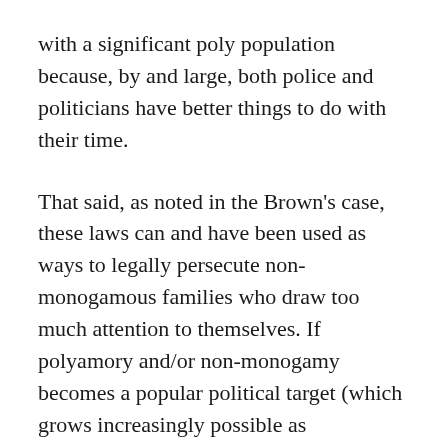with a significant poly population because, by and large, both police and politicians have better things to do with their time.
That said, as noted in the Brown's case, these laws can and have been used as ways to legally persecute non-monogamous families who draw too much attention to themselves. If polyamory and/or non-monogamy becomes a popular political target (which grows increasingly possible as conservatives in various countries recognize they are losing their battle against LGBT), then we may find use of these statutes to attack non-monogamy increasing.
Next Sunday we'll be checking out how laws